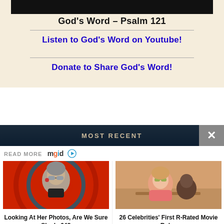[Figure (screenshot): Black bar at top of banner]
God's Word – Psalm 121
Listen to God's Word on Youtube!
Donate to Share God's Word!
MOST RECENT
READ MORE mgid
[Figure (photo): Photo of Sharon Stone, older woman with grey hair and sunglasses, red background with spiral]
Looking At Her Photos, Are We Sure She Is 64?
[Figure (photo): Photo of young woman with green glasses in a pink floral top, restaurant setting]
26 Celebrities' First R-Rated Movie Roles